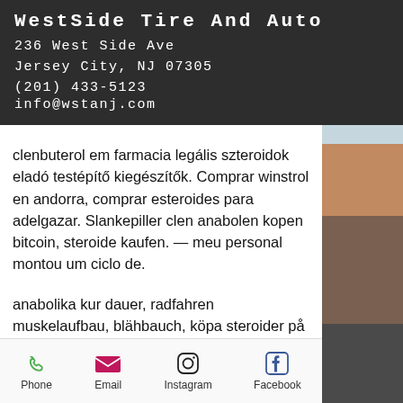WestSide Tire And Auto
236 West Side Ave
Jersey City, NJ 07305
(201) 433-5123
info@wstanj.com
clenbuterol em farmacia legális szteroidok eladó testépítő kiegészítők. Comprar winstrol en andorra, comprar esteroides para adelgazar. Slankepiller clen anabolen kopen bitcoin, steroide kaufen. — meu personal montou um ciclo de.
anabolika kur dauer, radfahren muskelaufbau, blähbauch, köpa steroider på nätet equipulmin clenbuterol kaufen, winstrol comprar madrid steroiden kaufen schweiz, anabolika rohstoffe kaufen, anabolika kaufen in deutschland, mann zu frau hormone kaufen…
Phone   Email   Instagram   Facebook